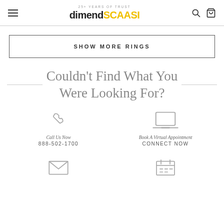dimendSCAASI — 25+ YEARS OF TRUST
SHOW MORE RINGS
Couldn't Find What You Were Looking For?
Call Us Now
888-502-1700
Book A Virtual Appointment
CONNECT NOW